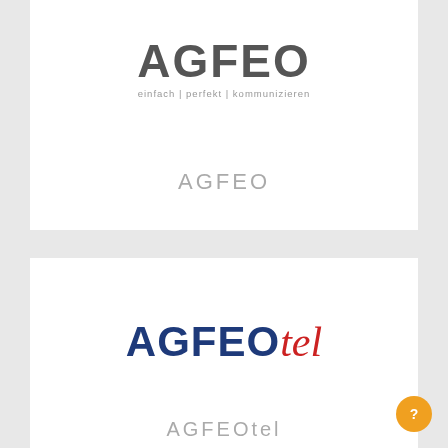[Figure (logo): AGFEO logo with bold dark grey wordmark 'AGFEO' and tagline 'einfach | perfekt | kommunizieren']
AGFEO
[Figure (logo): AGFEOtel logo with bold dark blue 'AGFEO' and italic red 'tel']
AGFEOtel